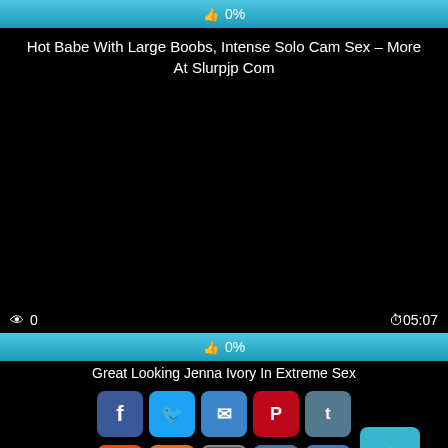[Figure (other): Rating bar showing 0% likes with thumbs up icon, cyan/blue background]
Hot Babe With Large Boobs, Intense Solo Cam Sex – More At Slurpjp Com
[Figure (other): Black video player area]
👁 0   ⏱ 05:07
[Figure (other): Rating bar showing 0% likes with thumbs up icon, cyan/blue background]
Great Looking Jenna Ivory In Extreme Sex
[Figure (other): Social share buttons: Facebook, Twitter, Email, Pinterest, Tumblr, Reddit, Blogger, WordPress, VK, More, and scroll-to-top button]